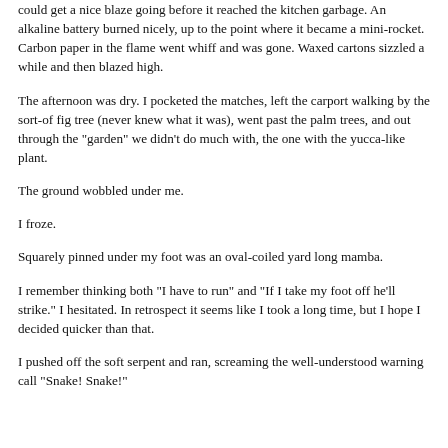could get a nice blaze going before it reached the kitchen garbage. An alkaline battery burned nicely, up to the point where it became a mini-rocket. Carbon paper in the flame went whiff and was gone. Waxed cartons sizzled a while and then blazed high.
The afternoon was dry. I pocketed the matches, left the carport walking by the sort-of fig tree (never knew what it was), went past the palm trees, and out through the "garden" we didn't do much with, the one with the yucca-like plant.
The ground wobbled under me.
I froze.
Squarely pinned under my foot was an oval-coiled yard long mamba.
I remember thinking both "I have to run" and "If I take my foot off he'll strike." I hesitated. In retrospect it seems like I took a long time, but I hope I decided quicker than that.
I pushed off the soft serpent and ran, screaming the well-understood warning call "Snake! Snake!"